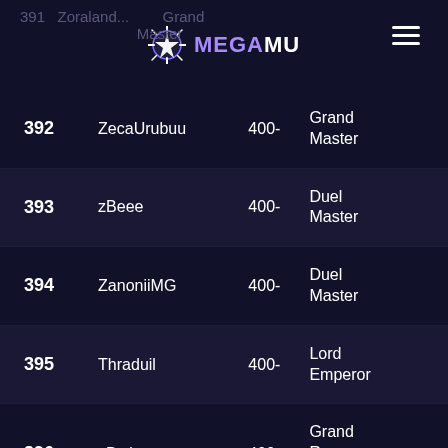MEGAMU
| Rank | Name | Class | Score |
| --- | --- | --- | --- |
| 391 | Zoraland... | Grand Master | 400- |
| 392 | ZecaUrubuu | Grand Master | 400- |
| 393 | zBeee | Duel Master | 400- |
| 394 | ZanoniiMG | Duel Master | 400- |
| 395 | Thraduil | Lord Emperor | 400- |
| 396 | xDwinx | Grand Rune Master | 400- |
| 397 | zKlenELF | Muse Elf | 400- |
| 398 | zDrakyFant | Blade Master | 400- |